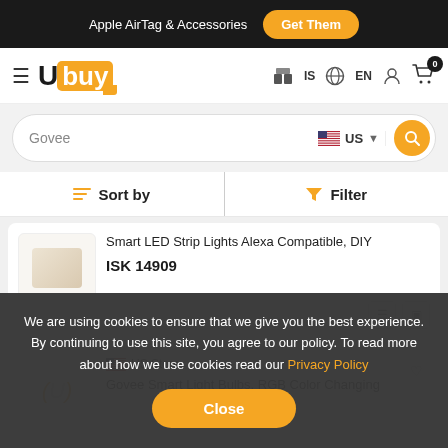Apple AirTag & Accessories  Get Them
[Figure (logo): Ubuy logo with hamburger menu and navigation icons (IS, EN, user, cart with 0 badge)]
Govee  US
Sort by  Filter
Smart LED Strip Lights Alexa Compatible, DIY
ISK 14909
US Store  Govee Smart Light Bulbs, RGB Color Changing
We are using cookies to ensure that we give you the best experience. By continuing to use this site, you agree to our policy. To read more about how we use cookies read our Privacy Policy
Close